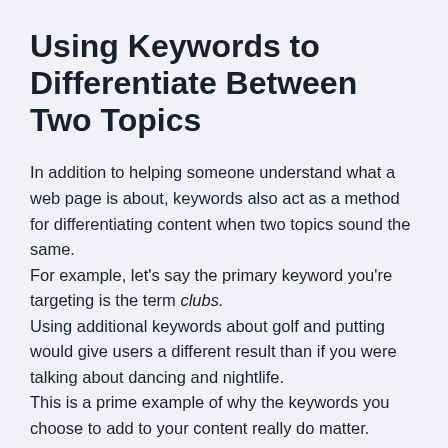Using Keywords to Differentiate Between Two Topics
In addition to helping someone understand what a web page is about, keywords also act as a method for differentiating content when two topics sound the same.
For example, let’s say the primary keyword you’re targeting is the term clubs.
Using additional keywords about golf and putting would give users a different result than if you were talking about dancing and nightlife.
This is a prime example of why the keywords you choose to add to your content really do matter.